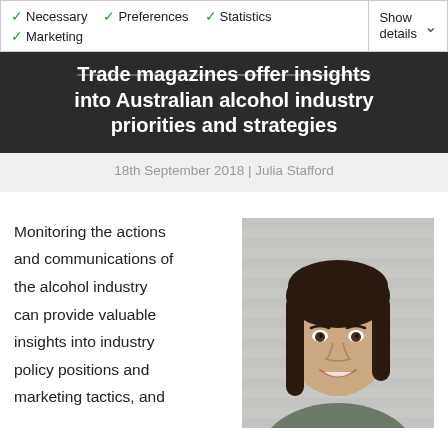Necessary ✓ Preferences ✓ Statistics ✓ Marketing | Show details
Trade magazines offer insights into Australian alcohol industry priorities and strategies
18th September 2018 | Julia Stafford
[Figure (photo): Headshot portrait of Julia Stafford, a young woman with dark hair, smiling, against a light brick wall background]
Monitoring the actions and communications of the alcohol industry can provide valuable insights into industry policy positions and marketing tactics, and